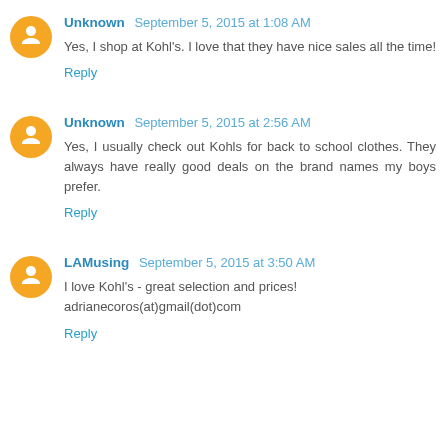Unknown  September 5, 2015 at 1:08 AM
Yes, I shop at Kohl's. I love that they have nice sales all the time!
Reply
Unknown  September 5, 2015 at 2:56 AM
Yes, I usually check out Kohls for back to school clothes. They always have really good deals on the brand names my boys prefer.
Reply
LAMusing  September 5, 2015 at 3:50 AM
I love Kohl's - great selection and prices! adrianecoros(at)gmail(dot)com
Reply